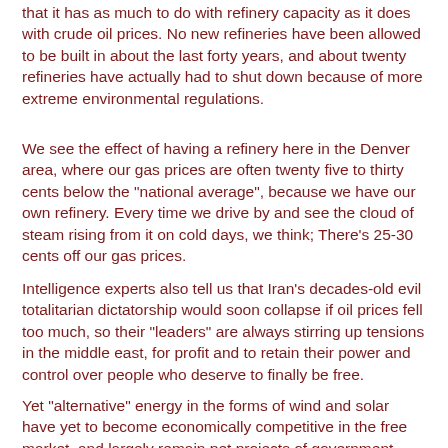that it has as much to do with refinery capacity as it does with crude oil prices. No new refineries have been allowed to be built in about the last forty years, and about twenty refineries have actually had to shut down because of more extreme environmental regulations.
We see the effect of having a refinery here in the Denver area, where our gas prices are often twenty five to thirty cents below the "national average", because we have our own refinery. Every time we drive by and see the cloud of steam rising from it on cold days, we think; There's 25-30 cents off our gas prices.
Intelligence experts also tell us that Iran's decades-old evil totalitarian dictatorship would soon collapse if oil prices fell too much, so their "leaders" are always stirring up tensions in the middle east, for profit and to retain their power and control over people who deserve to finally be free.
Yet "alternative" energy in the forms of wind and solar have yet to become economically competitive in the free market, and largely remain pet projects of government agencies,